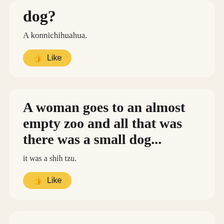dog?
A konnichihuahua.
Like
A woman goes to an almost empty zoo and all that was there was a small dog...
it was a shih tzu.
Like
What contains a small dog and an